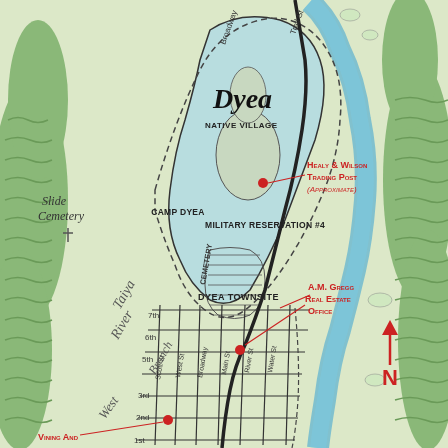[Figure (map): Historical map of Dyea, Alaska showing the Dyea Townsite, Camp Dyea Military Reservation #4, Native Village, Healy & Wilson Trading Post, A.M. Gregg Real Estate Office, Slide Cemetery, Taiya River Branch, and street grid including Broadway, Main St, River St, Water St, Scott St, West St, and numbered streets (1st through 7th). A north arrow is shown in the lower right. The Taiya River is shown in blue winding along the right side of the map. Green topographic features border the map on left and right sides.]